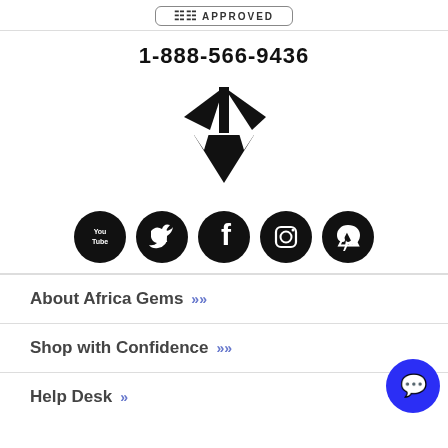[Figure (logo): Approved badge at top]
1-888-566-9436
[Figure (logo): Africa Gems diamond logo SVG]
[Figure (infographic): Social media icons: YouTube, Twitter, Facebook, Instagram, Pinterest]
About Africa Gems
Shop with Confidence
Help Desk